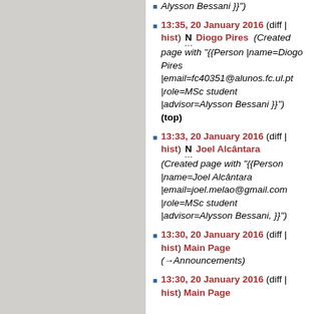Alysson Bessani }}")
13:35, 20 January 2016 (diff | hist) N Diogo Pires (Created page with "{{Person |name=Diogo Pires |email=fc40351@alunos.fc.ul.pt |role=MSc student |advisor=Alysson Bessani }}") (top)
13:33, 20 January 2016 (diff | hist) N Joel Alcântara (Created page with "{{Person |name=Joel Alcântara |email=joel.melao@gmail.com |role=MSc student |advisor=Alysson Bessani, }}")
13:30, 20 January 2016 (diff | hist) Main Page (→Announcements)
13:30, 20 January 2016 (diff | hist) Main Page